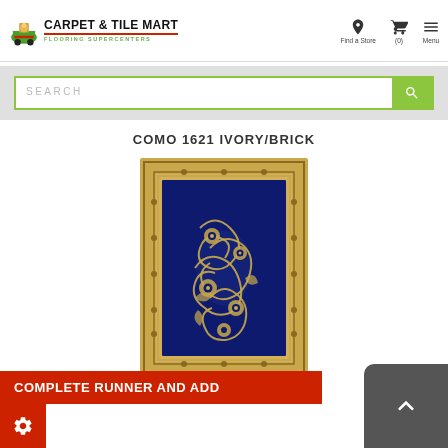Carpet & Tile Mart — Flooring Supercenters
Search
COMO 1621 IVORY/BRICK
[Figure (photo): Persian-style area rug with dark navy blue center field featuring ornate ivory/gold floral scrollwork pattern and matching ivory/gold border]
COMPLETE RUNNER AND ADD